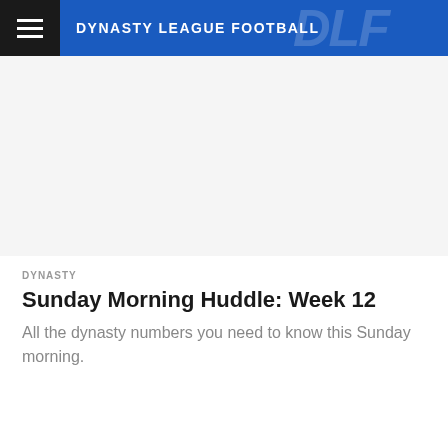DYNASTY LEAGUE FOOTBALL
DYNASTY
Sunday Morning Huddle: Week 12
All the dynasty numbers you need to know this Sunday morning.